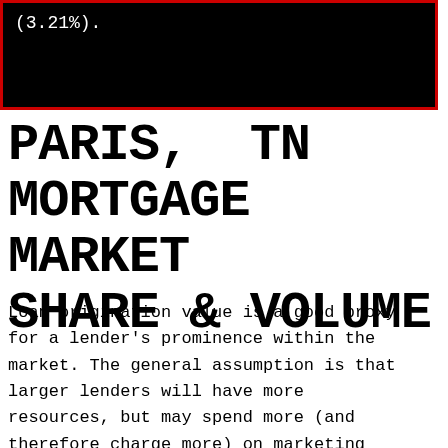(3.21%).
PARIS, TN MORTGAGE MARKET SHARE & VOLUME
Loan origination value is a good proxy for a lender's prominence within the market. The general assumption is that larger lenders will have more resources, but may spend more (and therefore charge more) on marketing and overhead expenses.